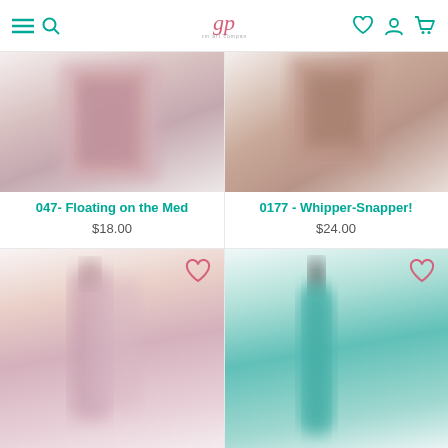Navigation header with menu, search, logo (gp), wishlist, account, and cart icons
[Figure (photo): Product photo of nail polish item 047 - Floating on the Med, blurred/soft focus, pinkish tones]
047- Floating on the Med
$18.00
[Figure (photo): Product photo of nail polish item 0177 - Whipper-Snapper!, blurred/soft focus, brownish-pink box tones]
0177 - Whipper-Snapper!
$24.00
[Figure (photo): Product photo of nail polish bottle, blurred, pinkish tones, partially visible at bottom]
[Figure (photo): Product photo of teal/turquoise nail polish bottle, blurred, partially visible at bottom]